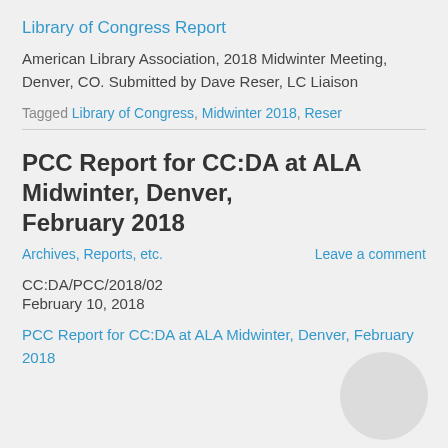Library of Congress Report
American Library Association, 2018 Midwinter Meeting, Denver, CO. Submitted by Dave Reser, LC Liaison
Tagged Library of Congress, Midwinter 2018, Reser
PCC Report for CC:DA at ALA Midwinter, Denver, February 2018
Archives, Reports, etc.    Leave a comment
CC:DA/PCC/2018/02
February 10, 2018
PCC Report for CC:DA at ALA Midwinter, Denver, February 2018